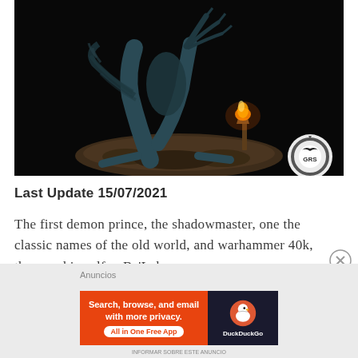[Figure (photo): A painted miniature figurine of Be'Lakor, a demon prince, shown against a dark black background. The figure is a dark blue-grey winged creature with clawed hands and feet, perched on a rocky base with a flaming torch/brazier. A circular gear logo with a crow is visible in the lower right corner of the image.]
Last Update 15/07/2021
The first demon prince, the shadowmaster, one the classic names of the old world, and warhammer 40k, the man himself… Be'Lakor.
Anuncios
[Figure (screenshot): DuckDuckGo advertisement banner. Orange left section with white bold text: 'Search, browse, and email with more privacy. All in One Free App'. Dark right section with DuckDuckGo duck logo and 'DuckDuckGo' text.]